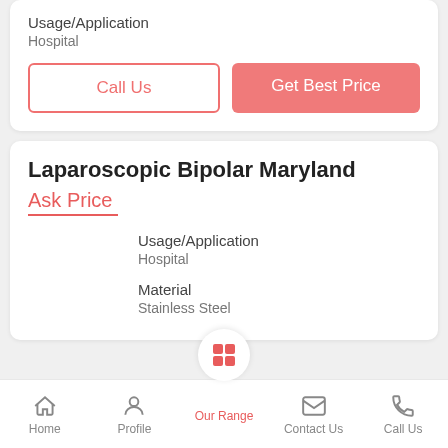Usage/Application
Hospital
Call Us
Get Best Price
Laparoscopic Bipolar Maryland
Ask Price
Usage/Application
Hospital
Material
Stainless Steel
Home  Profile  Our Range  Contact Us  Call Us